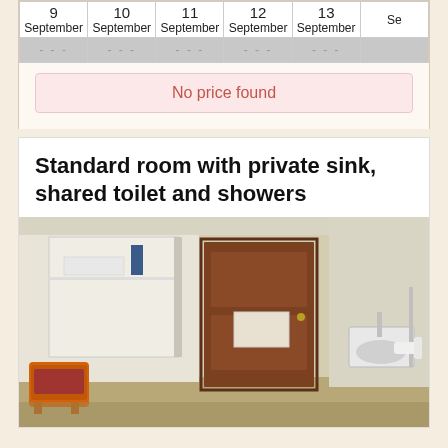| 9 September | 10 September | 11 September | 12 September | 13 September | Se |
| --- | --- | --- | --- | --- | --- |
| --- | --- | --- | --- | --- |  |
No price found
Standard room with private sink, shared toilet and showers
[Figure (photo): Interior of a hotel room showing a wooden door with a sign, a wardrobe/shelf area on the left, an orange chair in the lower left, and a wall-mounted sink with a hairdryer on the right side.]